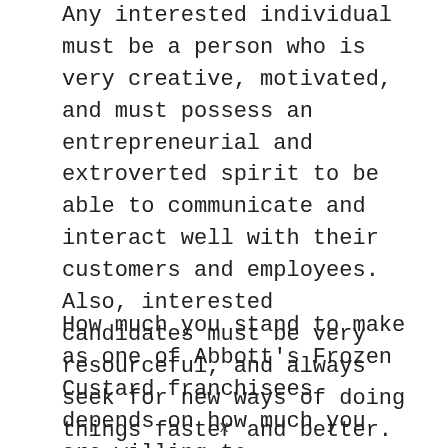Any interested individual must be a person who is very creative, motivated, and must possess an entrepreneurial and extroverted spirit to be able to communicate and interact well with their customers and employees. Also, interested candidates must be very resourceful, and always seek for new ways of doing things faster and better.
How much you stand to make as one of Abbott's Frozen Custard franchisees depends on how much you are willing to
x